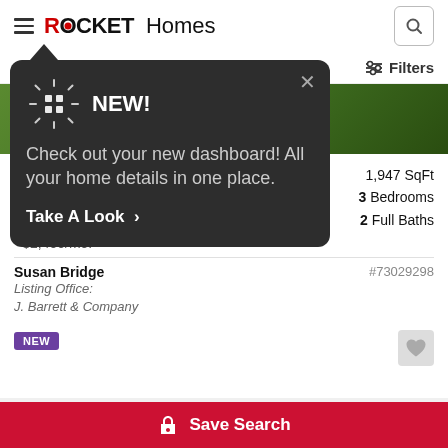ROCKET Homes
[Figure (screenshot): Rocket Homes app screenshot showing a tooltip popup over a real estate listing page with a 'NEW!' dashboard announcement]
NEW! Check out your new dashboard! All your home details in one place. Take A Look >
$499,000
1,947 SqFt
3 Bedrooms
2 Full Baths
~$2,400/mo.*
Susan Bridge
Listing Office:
J. Barrett & Company
#73029298
NEW
Save Search